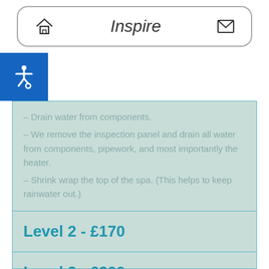Inspire
– Drain water from components.
– We remove the inspection panel and drain all water from components, pipework, and most importantly the heater.
– Shrink wrap the top of the spa. (This helps to keep rainwater out.)
Level 2 - £170
Level 3 - £200